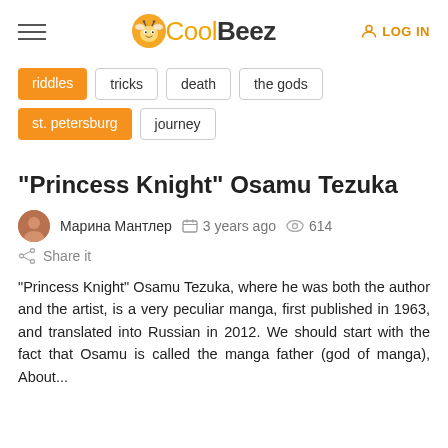CoolBeez — LOG IN
riddles
tricks
death
the gods
st. petersburg
journey
"Princess Knight" Osamu Tezuka
Марина Мантлер   3 years ago   614
Share it
“Princess Knight” Osamu Tezuka, where he was both the author and the artist, is a very peculiar manga, first published in 1963, and translated into Russian in 2012. We should start with the fact that Osamu is called the manga father (god of manga), About...